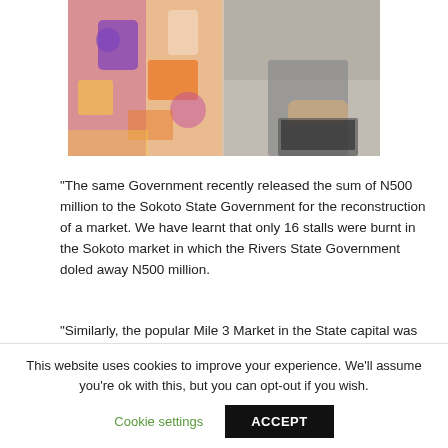[Figure (photo): Two-panel image: left panel shows a person wearing colorful patterned fabric (orange, purple, white geometric print); right panel shows a person in a suit working at a laptop or desk.]
“The same Government recently released the sum of N500 million to the Sokoto State Government for the reconstruction of a market. We have learnt that only 16 stalls were burnt in the Sokoto market in which the Rivers State Government doled away N500 million.
“Similarly, the popular Mile 3 Market in the State capital was recently engulfed in flames. Yesterday night, the “Plank Shed” in Marine Base was completely raised to the ground by fire.
This website uses cookies to improve your experience. We’ll assume you’re ok with this, but you can opt-out if you wish.
Cookie settings   ACCEPT